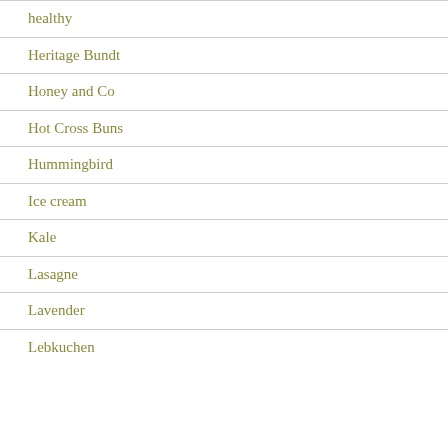healthy
Heritage Bundt
Honey and Co
Hot Cross Buns
Hummingbird
Ice cream
Kale
Lasagne
Lavender
Lebkuchen